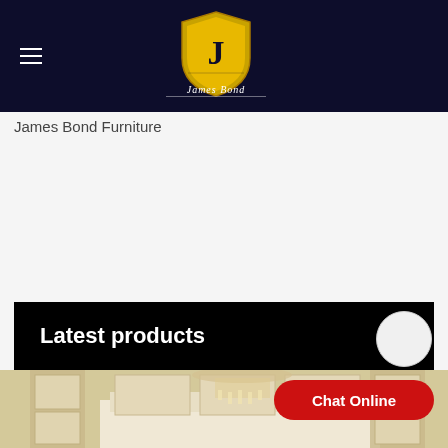James Bond Furniture - Navigation header with logo
James Bond Furniture
Latest products
[Figure (photo): Interior furniture showroom image showing elegant dining room with chandelier and upholstered chairs]
Chat Online